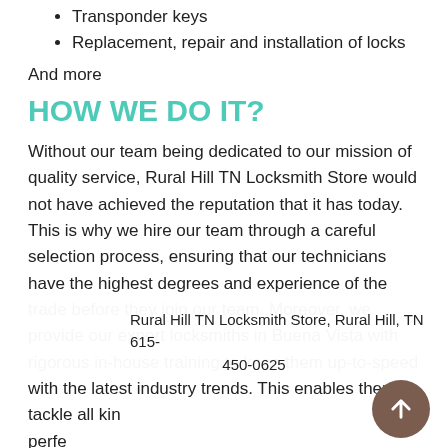Transponder keys
Replacement, repair and installation of locks
And more
HOW WE DO IT?
Without our team being dedicated to our mission of quality service, Rural Hill TN Locksmith Store would not have achieved the reputation that it has today. This is why we hire our team through a careful selection process, ensuring that our technicians have the highest degrees and experience of the trade before they join our team. Moreover, we provide our expert locksmiths in Buena Vista with rigorous in-house training to keep them up-to-speed with the latest industry trends. This enables them to tackle all kin... perfe...
Rural Hill TN Locksmith Store, Rural Hill, TN 615-450-0625
WH